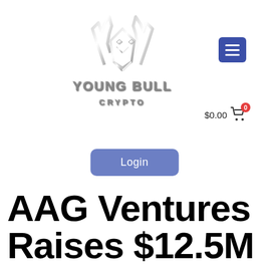[Figure (logo): Young Bull Crypto logo with geometric bull head and metallic text reading YOUNG BULL CRYPTO]
[Figure (other): Hamburger menu button (blue square with three white horizontal lines)]
$0.00  0
[Figure (other): Login button (blue-purple rounded rectangle with white text 'Login')]
AAG Ventures Raises $12.5M